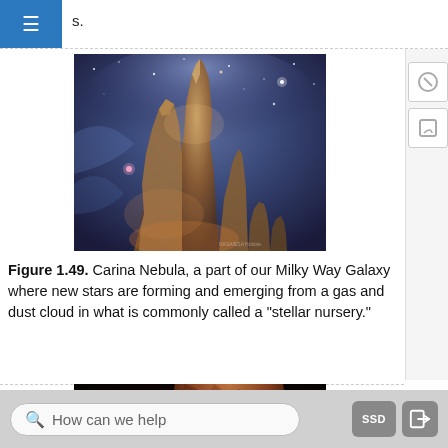...on stars, or billion stars, depending on their s.
[Figure (photo): Hubble Space Telescope image of the Carina Nebula, showing towering pillars of gas and dust in blue and orange hues, with bright star-forming regions — a stellar nursery in the Milky Way Galaxy.]
Figure 1.49. Carina Nebula, a part of our Milky Way Galaxy where new stars are forming and emerging from a gas and dust cloud in what is commonly called a "stellar nursery."
[Figure (photo): Astronomical image showing a bright blue star and a large brownish-red spherical object against a dark background, partially cropped at bottom of page.]